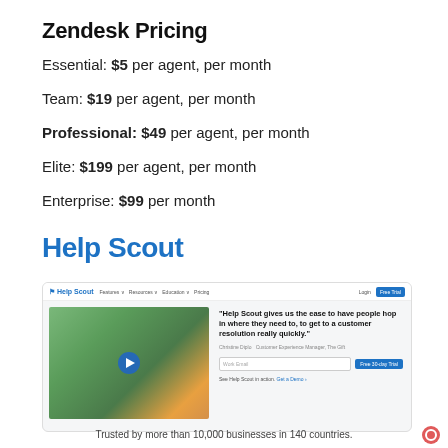Zendesk Pricing
Essential: $5 per agent, per month
Team: $19 per agent, per month
Professional: $49 per agent, per month
Elite: $199 per agent, per month
Enterprise: $99 per month
Help Scout
[Figure (screenshot): Help Scout website screenshot showing navigation bar with logo, hero section with a video thumbnail of a woman in a plant shop, and a testimonial quote: 'Help Scout gives us the ease to have people hop in where they need to, to get to a customer resolution really quickly.' with a Free 30-day Trial email signup form below.]
Trusted by more than 10,000 businesses in 140 countries.